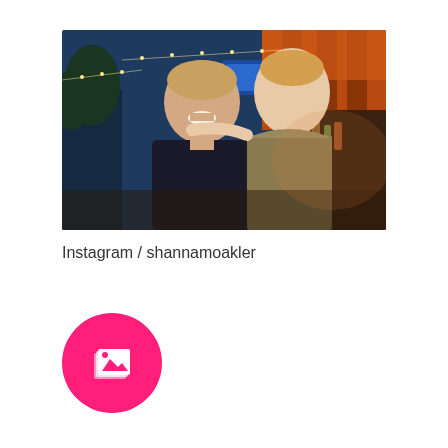[Figure (photo): Two people posing together in a colorful bar/restaurant setting. A man in a black sweater smiling with a woman in an olive/khaki top behind him. Festive lights and colorful decorations visible in the background.]
Instagram / shannamoakler
[Figure (logo): Hot pink circular button with a white image/gallery icon (stack of photos) in the center]